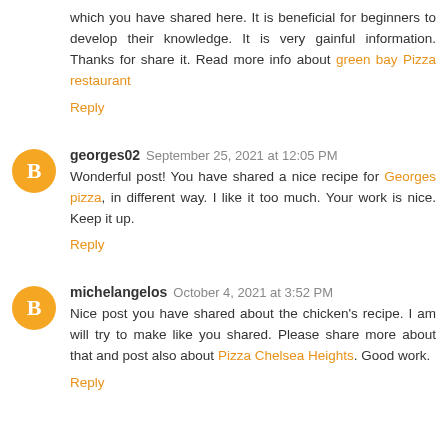which you have shared here. It is beneficial for beginners to develop their knowledge. It is very gainful information. Thanks for share it. Read more info about green bay Pizza restaurant
Reply
georges02  September 25, 2021 at 12:05 PM
Wonderful post! You have shared a nice recipe for Georges pizza, in different way. I like it too much. Your work is nice. Keep it up.
Reply
michelangelos  October 4, 2021 at 3:52 PM
Nice post you have shared about the chicken's recipe. I am will try to make like you shared. Please share more about that and post also about Pizza Chelsea Heights. Good work.
Reply